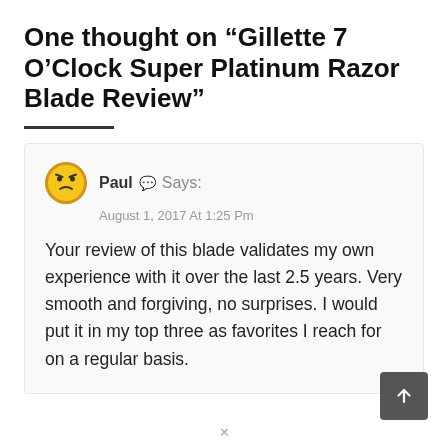One thought on “Gillette 7 O’Clock Super Platinum Razor Blade Review”
Paul 💬 Says:
August 1, 2017 At 1:25 Pm

Your review of this blade validates my own experience with it over the last 2.5 years. Very smooth and forgiving, no surprises. I would put it in my top three as favorites I reach for on a regular basis.